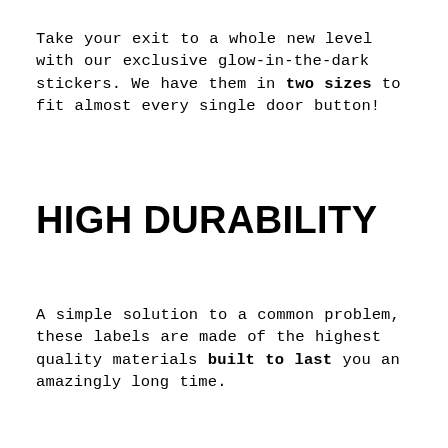Take your exit to a whole new level with our exclusive glow-in-the-dark stickers. We have them in two sizes to fit almost every single door button!
HIGH DURABILITY
A simple solution to a common problem, these labels are made of the highest quality materials built to last you an amazingly long time.
Offering the best-in-class door button stickers, this product makes sure your loved ones never miss a spot when leaving your electric vehicle. These labels will look great on